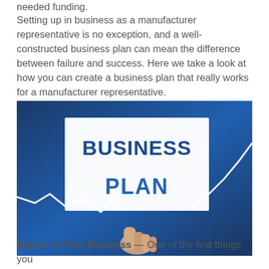needed funding.
Setting up in business as a manufacturer representative is no exception, and a well-constructed business plan can mean the difference between failure and success. Here we take a look at how you can create a business plan that really works for a manufacturer representative.
[Figure (photo): A hand holding a white card with 'BUSINESS PLAN' text on a blue financial chart background with stock market graph arrows]
Nature of Your Business — One of the first things you